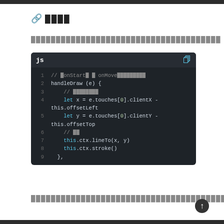🔗 ████
██████████████████████████████████████
[Figure (screenshot): JavaScript code block with dark theme showing handleDraw method with lines: 1: // onStart  onMove (commented), 2: handleDraw (e) {, 3: // (comment), 4: let x = e.touches[0].clientX - this.offsetLeft, 5: let y = e.touches[0].clientY - this.offsetTop, 6: // (comment), 7: this.ctx.lineTo(x, y), 8: this.ctx.stroke(), 9: },]
██████████████████████████████████████████